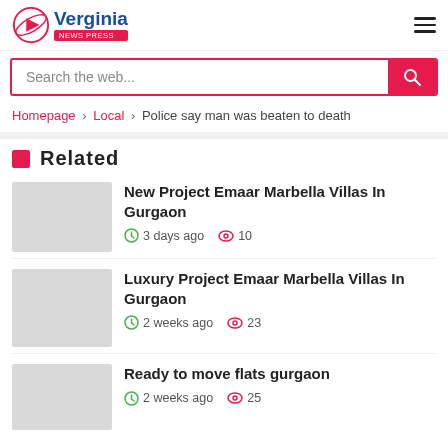Verginia news press
Search the web...
Homepage › Local › Police say man was beaten to death
Related
New Project Emaar Marbella Villas In Gurgaon
3 days ago  10
Luxury Project Emaar Marbella Villas In Gurgaon
2 weeks ago  23
Ready to move flats gurgaon
2 weeks ago  25